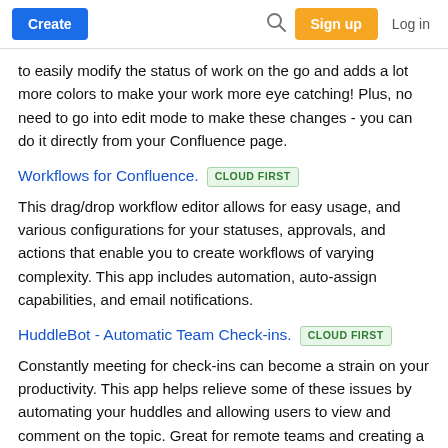Create | [search] | Sign up | Log in
to easily modify the status of work on the go and adds a lot more colors to make your work more eye catching! Plus, no need to go into edit mode to make these changes - you can do it directly from your Confluence page.
Workflows for Confluence. CLOUD FIRST
This drag/drop workflow editor allows for easy usage, and various configurations for your statuses, approvals, and actions that enable you to create workflows of varying complexity. This app includes automation, auto-assign capabilities, and email notifications.
HuddleBot - Automatic Team Check-ins. CLOUD FIRST
Constantly meeting for check-ins can become a strain on your productivity. This app helps relieve some of these issues by automating your huddles and allowing users to view and comment on the topic. Great for remote teams and creating a paper trail of your day to day work.
ProdPad integration for Confluence